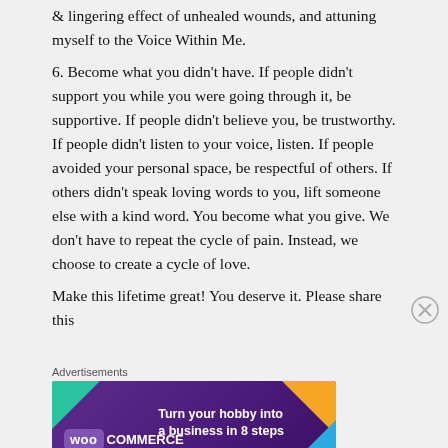& lingering effect of unhealed wounds, and attuning myself to the Voice Within Me.
6. Become what you didn't have. If people didn't support you while you were going through it, be supportive. If people didn't believe you, be trustworthy. If people didn't listen to your voice, listen. If people avoided your personal space, be respectful of others. If others didn't speak loving words to you, lift someone else with a kind word. You become what you give. We don't have to repeat the cycle of pain. Instead, we choose to create a cycle of love.
Make this lifetime great! You deserve it. Please share this
Advertisements
[Figure (illustration): WooCommerce advertisement banner: purple background with teal, orange, and blue accent shapes. WooCommerce logo on left, tagline 'Turn your hobby into a business in 8 steps' on right.]